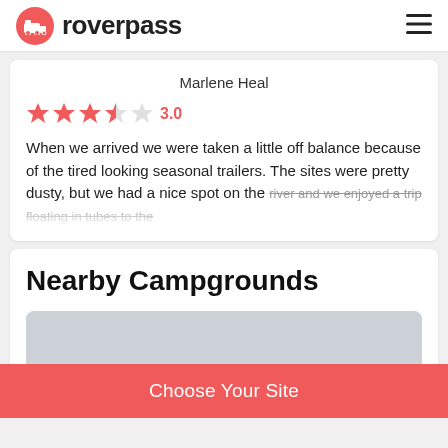roverpass
Marlene Heal
3.0
When we arrived we were taken a little off balance because of the tired looking seasonal trailers. The sites were pretty dusty, but we had a nice spot on the river and we enjoyed a trip floating in tubes to the
Nearby Campgrounds
Choose Your Site
From